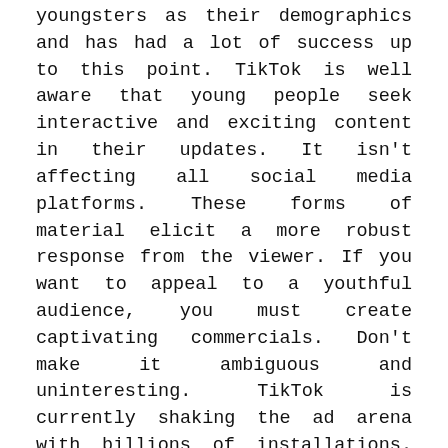youngsters as their demographics and has had a lot of success up to this point. TikTok is well aware that young people seek interactive and exciting content in their updates. It isn't affecting all social media platforms. These forms of material elicit a more robust response from the viewer. If you want to appeal to a youthful audience, you must create captivating commercials. Don't make it ambiguous and uninteresting. TikTok is currently shaking the ad arena with billions of installations. The application's participatory element aided in increasing motivation and traffic.
It Aids In The Creation Of High-Quality Content For Your Company